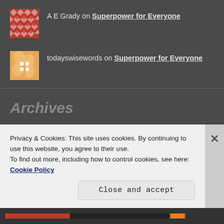A E Grady on Superpower for Everyone
todayswisewords on Superpower for Everyone
Archives
June 2022
May 2022
Privacy & Cookies: This site uses cookies. By continuing to use this website, you agree to their use.
To find out more, including how to control cookies, see here: Cookie Policy
Close and accept